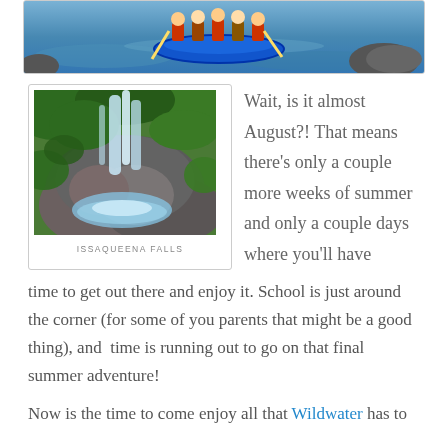[Figure (photo): Top portion of rafting photo showing people in a blue inflatable raft on a river with rocks]
[Figure (photo): Waterfall scene with lush green vegetation — Issaqueena Falls]
ISSAQUEENA FALLS
Wait, is it almost August?! That means there's only a couple more weeks of summer and only a couple days where you'll have time to get out there and enjoy it. School is just around the corner (for some of you parents that might be a good thing), and time is running out to go on that final summer adventure!
Now is the time to come enjoy all that Wildwater has to